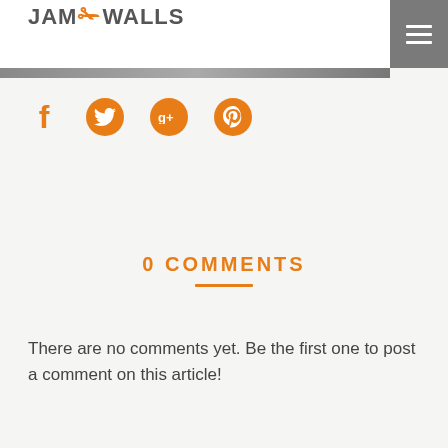JAM WALLS
[Figure (illustration): Four social media icons: Facebook (f), Twitter (bird), Google+ (g+), Pinterest (p) — all in orange color]
0 COMMENTS
There are no comments yet. Be the first one to post a comment on this article!